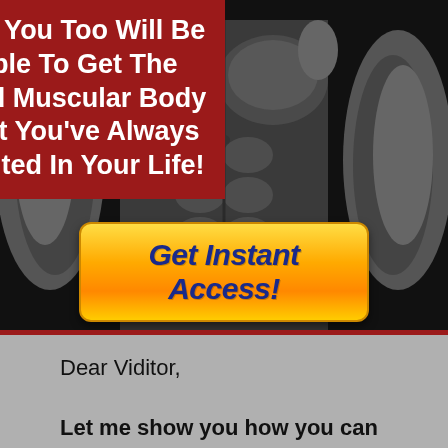[Figure (photo): Black and white photo of a muscular male body (torso) in the background of the top section]
And You Too Will Be Able To Get The Hard Muscular Body That You've Always Wanted In Your Life!
[Figure (other): Orange/yellow gradient button with text 'Get Instant Access!']
Dear Viditor,
Let me show you how you can